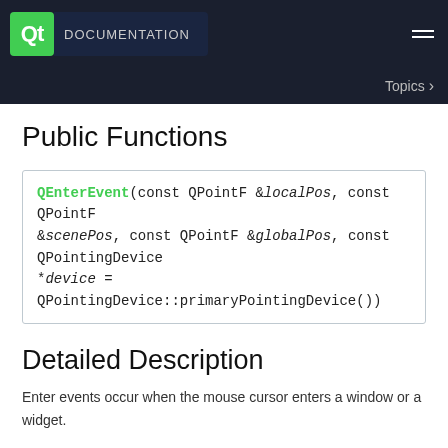Qt Documentation | Topics
Public Functions
| QEnterEvent(const QPointF &localPos, const QPointF &scenePos, const QPointF &globalPos, const QPointingDevice *device = QPointingDevice::primaryPointingDevice()) |
Detailed Description
Enter events occur when the mouse cursor enters a window or a widget.
Member Function Documentation
QEnterEvent::QEnterEvent(const QPointF &localPos, const QPointF &scenePos, const QPointF &...